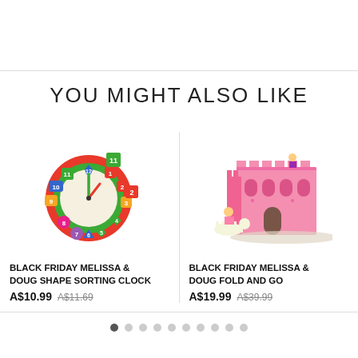YOU MIGHT ALSO LIKE
[Figure (photo): Colorful Melissa & Doug Shape Sorting Clock toy with numbered shapes]
BLACK FRIDAY MELISSA & DOUG SHAPE SORTING CLOCK
A$10.99  A$11.69
[Figure (photo): Pink Melissa & Doug Fold and Go Castle with princess and horse figurines]
BLACK FRIDAY MELISSA & DOUG FOLD AND GO
A$19.99  A$39.99